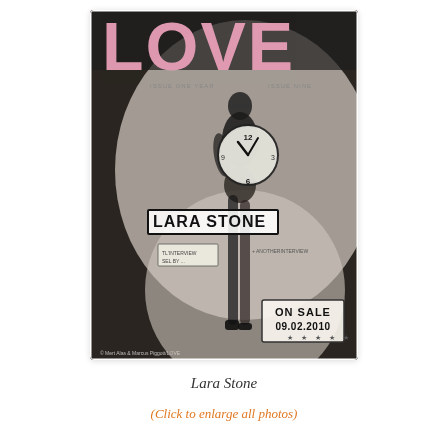[Figure (photo): LOVE magazine cover featuring Lara Stone in black and white, holding a large clock, with pink 'LOVE' title text at top, 'LARA STONE' text overlaid in bold, and 'ON SALE 09.02.2010' stamp in lower right. Copyright: Mert Alas & Marcus Piggott/LOVE.]
Lara Stone
(Click to enlarge all photos)